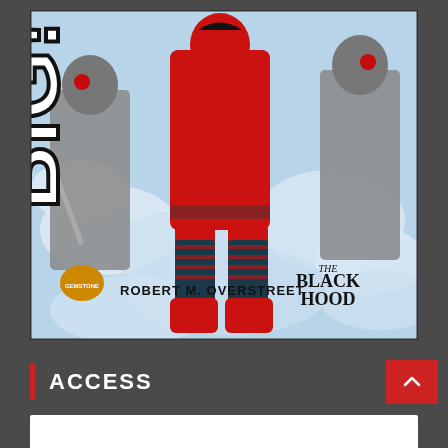[Figure (illustration): Comic book cover showing a superhero in a red suit and boots leaping through clouds, with armored villains with glowing red eyes. Title text 'BIG! B' visible on left side. Bottom shows 'Robert M. Overstreet' and 'The Black Hood' with a Gemstone Publishing logo.]
ACCESS